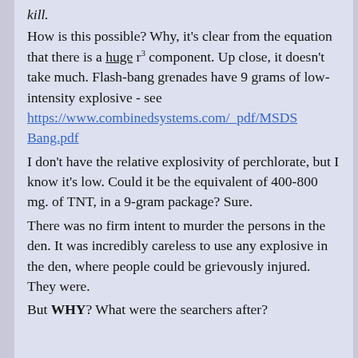kill.
How is this possible?  Why, it's clear from the equation that there is a huge r³ component.  Up close, it doesn't take much.  Flash-bang grenades have 9 grams of low-intensity explosive - see https://www.combinedsystems.com/_pdf/MSDSBang.pdf
I don't have the relative explosivity of perchlorate, but I know it's low.  Could it be the equivalent of 400-800 mg. of TNT, in a 9-gram package?  Sure.
There was no firm intent to murder the persons in the den.  It was incredibly careless to use any explosive in the den, where people could be grievously injured.  They were.
But WHY?  What were the searchers after?